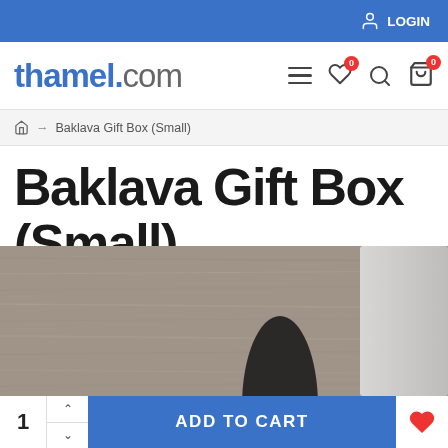LOGIN
thamel.com
⌂ → Baklava Gift Box (Small)
Baklava Gift Box (Small)
[Figure (photo): Photo of a Baklava Gift Box (Small) on a woven textile background with a black ribbon and white gift box visible]
1  ADD TO CART